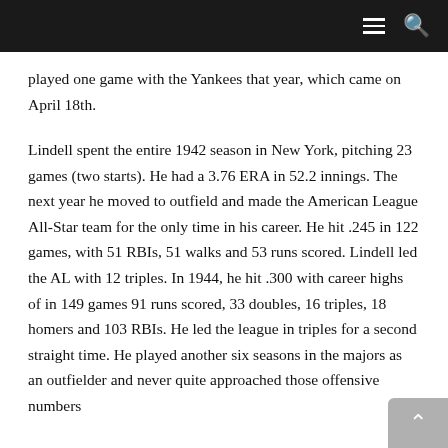Navigation bar with hamburger menu and search icon
played one game with the Yankees that year, which came on April 18th.
Lindell spent the entire 1942 season in New York, pitching 23 games (two starts). He had a 3.76 ERA in 52.2 innings. The next year he moved to outfield and made the American League All-Star team for the only time in his career. He hit .245 in 122 games, with 51 RBIs, 51 walks and 53 runs scored. Lindell led the AL with 12 triples. In 1944, he hit .300 with career highs of in 149 games 91 runs scored, 33 doubles, 16 triples, 18 homers and 103 RBIs. He led the league in triples for a second straight time. He played another six seasons in the majors as an outfielder and never quite approached those offensive numbers